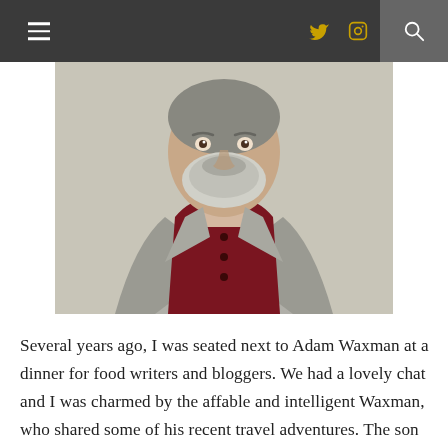≡  [twitter] [instagram]  [search]
[Figure (photo): Portrait photo of a man with a white/grey beard wearing a grey blazer over a dark red/maroon button-up shirt, photographed from roughly chest-up against a light neutral background.]
Several years ago, I was seated next to Adam Waxman at a dinner for food writers and bloggers. We had a lovely chat and I was charmed by the affable and intelligent Waxman, who shared some of his recent travel adventures. The son of Canadian icons Al and Sara Waxman, Adam has joined his mother in the family business – becoming a successful food and travel writer in his role as Associate